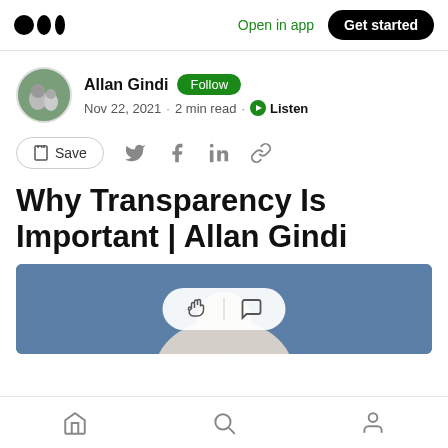Medium logo | Open in app | Get started
Allan Gindi · Follow · Nov 22, 2021 · 2 min read · Listen
Save
Why Transparency Is Important | Allan Gindi
[Figure (photo): Article header image showing a person from shoulders up against a blue background, with a clap/comment action bar overlaid in the center]
Bottom navigation bar with home, search, and profile icons